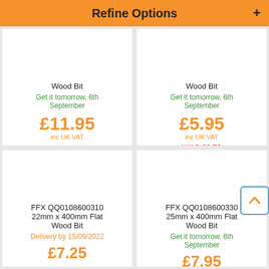Refine Options
Wood Bit
Get it tomorrow, 6th September
£11.95
inc UK VAT
Wood Bit
Get it tomorrow, 6th September
£5.95
inc UK VAT
WAS £6.50
FFX QQ0108600310 22mm x 400mm Flat Wood Bit
Delivery by 15/09/2022
£7.25
FFX QQ0108600330 25mm x 400mm Flat Wood Bit
Get it tomorrow, 6th September
£7.95